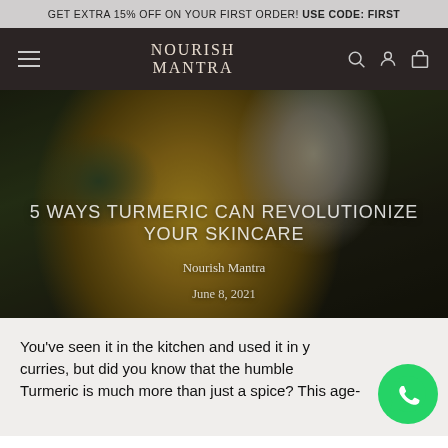GET EXTRA 15% OFF ON YOUR FIRST ORDER! USE CODE: FIRST
[Figure (screenshot): Nourish Mantra website navigation bar with hamburger menu, logo, search, account, and cart icons on dark background]
[Figure (photo): Woman with turmeric face mask and white towel on head, surrounded by green leaves, with overlay text: 5 WAYS TURMERIC CAN REVOLUTIONIZE YOUR SKINCARE, Nourish Mantra, June 8, 2021]
5 WAYS TURMERIC CAN REVOLUTIONIZE YOUR SKINCARE
Nourish Mantra
June 8, 2021
You've seen it in the kitchen and used it in your curries, but did you know that the humble Turmeric is much more than just a spice? This age-